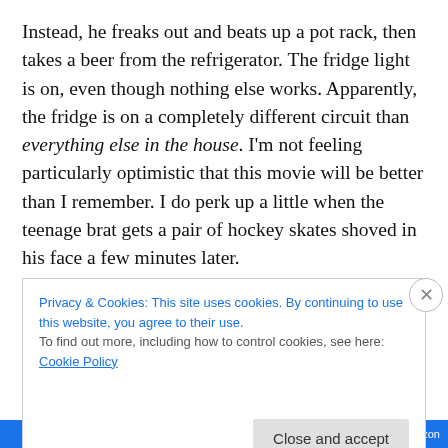Instead, he freaks out and beats up a pot rack, then takes a beer from the refrigerator. The fridge light is on, even though nothing else works. Apparently, the fridge is on a completely different circuit than everything else in the house. I'm not feeling particularly optimistic that this movie will be better than I remember. I do perk up a little when the teenage brat gets a pair of hockey skates shoved in his face a few minutes later.

On the plus side, Jamie Lee Curtis makes her triumphant return in this film. Evidently, Laurie Strode faked her death
Privacy & Cookies: This site uses cookies. By continuing to use this website, you agree to their use.
To find out more, including how to control cookies, see here: Cookie Policy

Close and accept